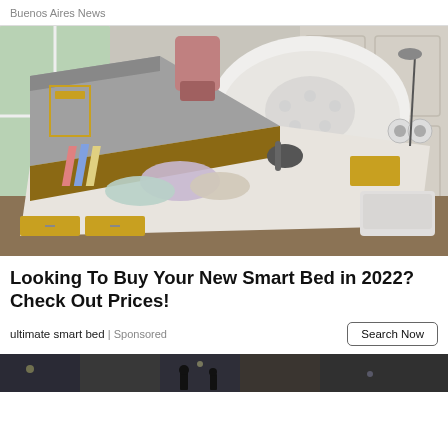Buenos Aires News
[Figure (photo): A multi-functional smart bed with storage compartments, massage rollers, speakers, and extended features displayed open in a modern bedroom setting.]
Looking To Buy Your New Smart Bed in 2022? Check Out Prices!
ultimate smart bed | Sponsored
Search Now
[Figure (photo): Bottom strip of another image, partially visible, showing a dark street scene.]